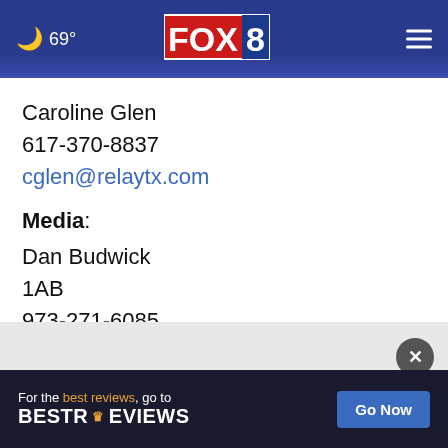[Figure (screenshot): FOX 8 news website header with moon/weather icon showing 69°, FOX 8 logo in center, hamburger menu on right, dark blue gradient background]
Caroline Glen
617-370-8837
cglen@relaytx.com
Media:
Dan Budwick
1AB
973-271-6085
dan@1abmedia.com
[Figure (screenshot): Advertisement banner: 'For the best reviews, go to BESTREVIEWS' with a 'Go Now' button, dark navy background]